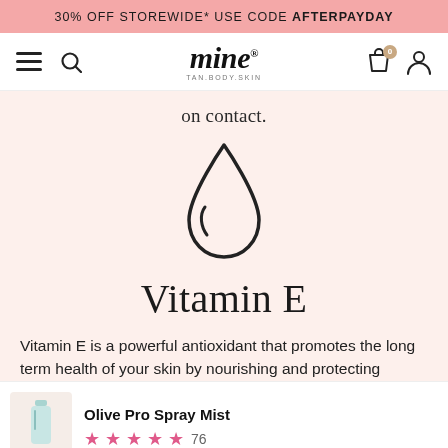30% OFF STOREWIDE* USE CODE AFTERPAYDAY
[Figure (logo): mine TAN.BODY.SKIN logo with hamburger menu, search icon, bag icon, and user icon]
on contact.
[Figure (illustration): Water drop / oil drop icon outline in dark ink on light pink background]
Vitamin E
Vitamin E is a powerful antioxidant that promotes the long term health of your skin by nourishing and protecting
Olive Pro Spray Mist
76 reviews, 4.5 stars
ADD TO CART | $69.99